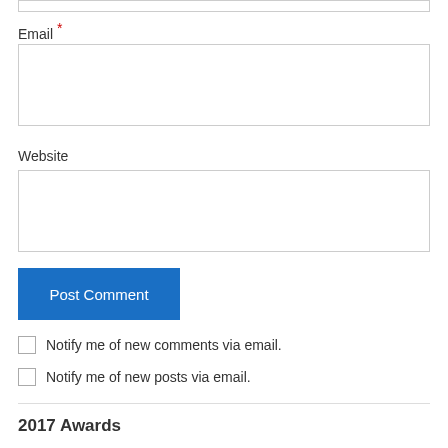Email *
Website
Post Comment
Notify me of new comments via email.
Notify me of new posts via email.
2017 Awards
[Figure (other): Partial circular blue and gold award badge/logo at bottom of page]